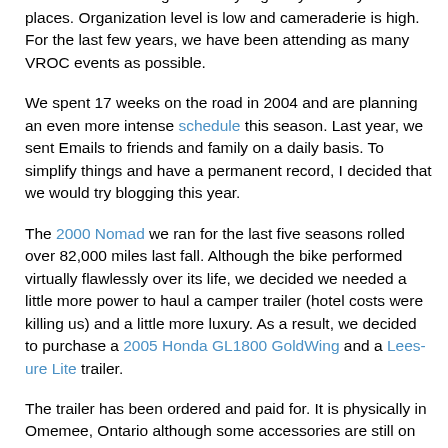Internet based club running a private news server, the members decide to gather fairly regularly in many different places. Organization level is low and cameraderie is high. For the last few years, we have been attending as many VROC events as possible.
We spent 17 weeks on the road in 2004 and are planning an even more intense schedule this season. Last year, we sent Emails to friends and family on a daily basis. To simplify things and have a permanent record, I decided that we would try blogging this year.
The 2000 Nomad we ran for the last five seasons rolled over 82,000 miles last fall. Although the bike performed virtually flawlessly over its life, we decided we needed a little more power to haul a camper trailer (hotel costs were killing us) and a little more luxury. As a result, we decided to purchase a 2005 Honda GL1800 GoldWing and a Lees-ure Lite trailer.
The trailer has been ordered and paid for. It is physically in Omemee, Ontario although some accessories are still on order. We don't need it until late May. The bike, OTOH, is